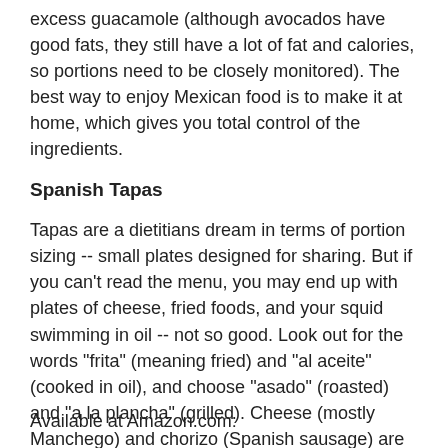excess guacamole (although avocados have good fats, they still have a lot of fat and calories, so portions need to be closely monitored). The best way to enjoy Mexican food is to make it at home, which gives you total control of the ingredients.
Spanish Tapas
Tapas are a dietitians dream in terms of portion sizing -- small plates designed for sharing. But if you can't read the menu, you may end up with plates of cheese, fried foods, and your squid swimming in oil -- not so good. Look out for the words "frita" (meaning fried) and "al aceite" (cooked in oil), and choose "asado" (roasted) and "a la plancha" (grilled). Cheese (mostly Manchego) and chorizo (Spanish sausage) are a must on a tapas menu, but watch your portions, the fat, calories and sodium can add up quickly.
Available at Amazon.com: